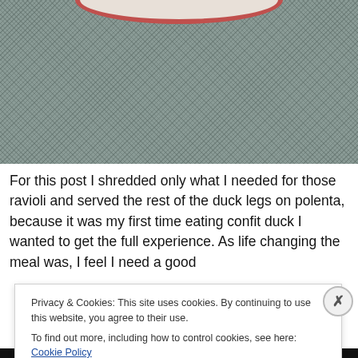[Figure (photo): Close-up photo of a dark teal/grey textured fabric or cloth with a white plate with a red/brown rim partially visible at the top center.]
For this post I shredded only what I needed for those ravioli and served the rest of the duck legs on polenta, because it was my first time eating confit duck I wanted to get the full experience. As life changing the meal was, I feel I need a good
Privacy & Cookies: This site uses cookies. By continuing to use this website, you agree to their use.
To find out more, including how to control cookies, see here: Cookie Policy
Close and accept